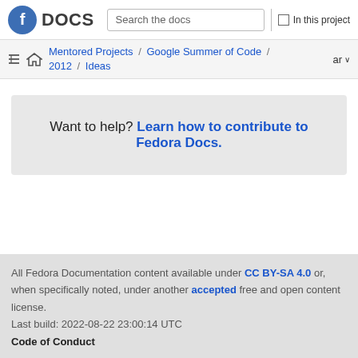Fedora DOCS | Search the docs | In this project
Mentored Projects / Google Summer of Code / 2012 / Ideas
Want to help? Learn how to contribute to Fedora Docs.
All Fedora Documentation content available under CC BY-SA 4.0 or, when specifically noted, under another accepted free and open content license. Last build: 2022-08-22 23:00:14 UTC Code of Conduct